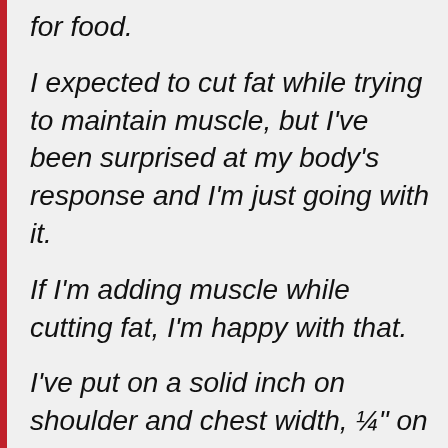for food.
I expected to cut fat while trying to maintain muscle, but I've been surprised at my body's response and I'm just going with it.
If I'm adding muscle while cutting fat, I'm happy with that.
I've put on a solid inch on shoulder and chest width, ¼" on my calves